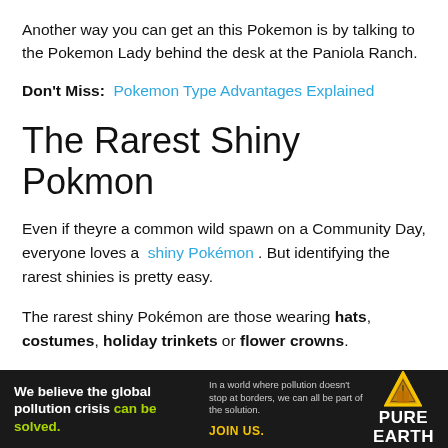Another way you can get an this Pokemon is by talking to the Pokemon Lady behind the desk at the Paniola Ranch.
Don't Miss: Pokemon Type Advantages Explained
The Rarest Shiny Pokmon
Even if theyre a common wild spawn on a Community Day, everyone loves a shiny Pokémon . But identifying the rarest shinies is pretty easy.
The rarest shiny Pokémon are those wearing hats, costumes, holiday trinkets or flower crowns.
This is because the Pokémon were only available for a short
[Figure (infographic): Pure Earth advertisement banner with dark background. Left side reads: 'We believe the global pollution crisis can be solved.' with 'can be solved.' in green. Middle text: 'In a world where pollution doesn't stop at borders, we can all be part of the solution. JOIN US.' Right side: Pure Earth logo with triangle icon and 'PURE EARTH' text in white.]